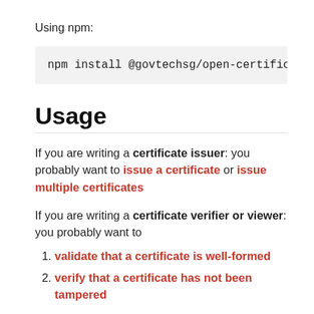Using npm:
npm install @govtechsg/open-certifica
Usage
If you are writing a certificate issuer: you probably want to issue a certificate or issue multiple certificates
If you are writing a certificate verifier or viewer: you probably want to
validate that a certificate is well-formed
verify that a certificate has not been tampered with